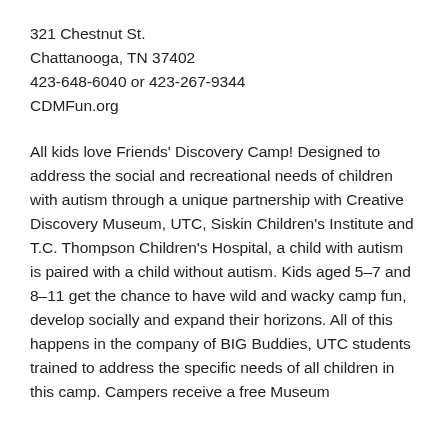321 Chestnut St.
Chattanooga, TN 37402
423-648-6040 or 423-267-9344
CDMFun.org
All kids love Friends' Discovery Camp! Designed to address the social and recreational needs of children with autism through a unique partnership with Creative Discovery Museum, UTC, Siskin Children's Institute and T.C. Thompson Children's Hospital, a child with autism is paired with a child without autism. Kids aged 5–7 and 8–11 get the chance to have wild and wacky camp fun, develop socially and expand their horizons. All of this happens in the company of BIG Buddies, UTC students trained to address the specific needs of all children in this camp. Campers receive a free Museum